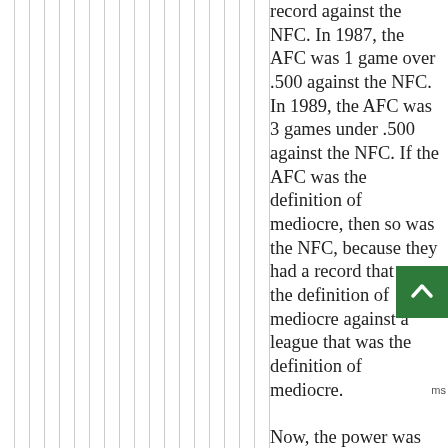[Figure (other): Decorative vertical gray lines filling the left portion of the page]
record against the NFC. In 1987, the AFC was 1 game over .500 against the NFC. In 1989, the AFC was 3 games under .500 against the NFC. If the AFC was the definition of mediocre, then so was the NFC, because they had a record that was the definition of mediocre against a league that was the definition of mediocre.

Now, the power was